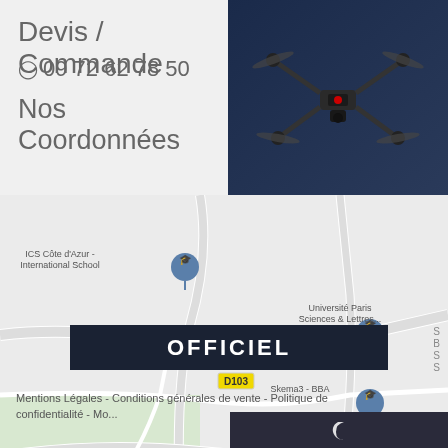Devis / Commande
☐ 09 72 62 78 50
Nos Coordonnées
[Figure (photo): A DJI drone (Inspire series) photographed against a dark blue background]
[Figure (map): Google Maps screenshot showing area near Sophia Antipolis, France, with pins for ICS Côte d'Azur - International School, Université Paris Sciences & Lettres..., Skema3 - BBA, City Résidence Sophia Antipolis, road D103]
[Figure (other): Dark banner with text OFFICIEL]
Mentions Légales - Conditions générales de vente - Politique de confidentialité - Mo... ...teur
[Figure (other): Dark bar at bottom right with moon/crescent icon]